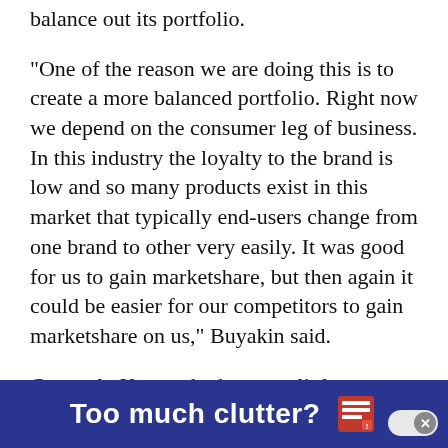balance out its portfolio.
“One of the reason we are doing this is to create a more balanced portfolio. Right now we depend on the consumer leg of business. In this industry the loyalty to the brand is low and so many products exist in this market that typically end-users change from one brand to other very easily. It was good for us to gain marketshare, but then again it could be easier for our competitors to gain marketshare on us,” Buyakin said.
Currently Kaspersky has very little revenue from enterprise customers. The rest comes from SMB and OEM alliances with the likes of Check Point and Juniper Networks
[Figure (other): Dark blue advertisement banner reading 'Too much clutter?' with a document/newspaper icon and a close button]